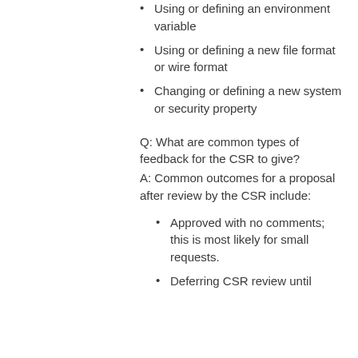Using or defining an environment variable
Using or defining a new file format or wire format
Changing or defining a new system or security property
Q: What are common types of feedback for the CSR to give?
A: Common outcomes for a proposal after review by the CSR include:
Approved with no comments; this is most likely for small requests.
Deferring CSR review until